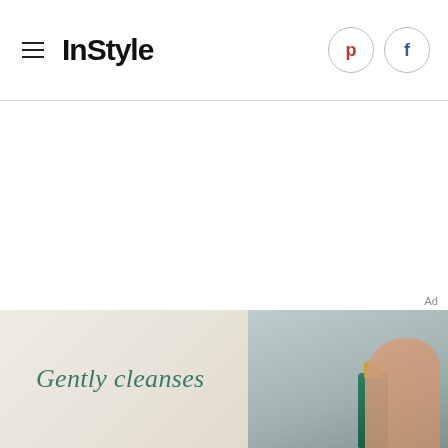InStyle
[Figure (screenshot): InStyle website header with hamburger menu, InStyle logo, Pinterest and Facebook social icons in circles, horizontal divider, large white content area, Ad label, and a banner advertisement reading 'Gently cleanses' with a product image on the right]
Ad
Gently cleanses